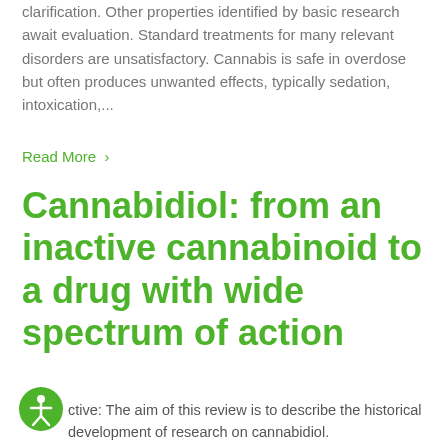clarification. Other properties identified by basic research await evaluation. Standard treatments for many relevant disorders are unsatisfactory. Cannabis is safe in overdose but often produces unwanted effects, typically sedation, intoxication,...
Read More >
Cannabidiol: from an inactive cannabinoid to a drug with wide spectrum of action
ctive: The aim of this review is to describe the historical development of research on cannabidiol.